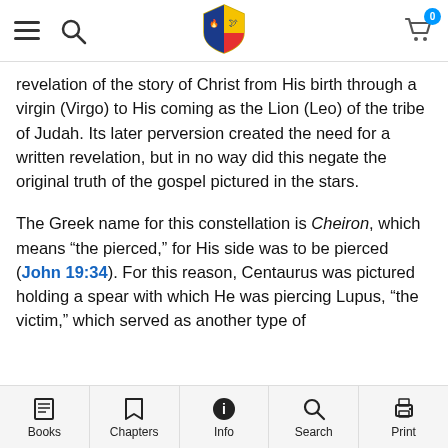Navigation bar with hamburger menu, search icon, shield logo, and cart icon with badge 0
revelation of the story of Christ from His birth through a virgin (Virgo) to His coming as the Lion (Leo) of the tribe of Judah. Its later perversion created the need for a written revelation, but in no way did this negate the original truth of the gospel pictured in the stars.
The Greek name for this constellation is Cheiron, which means “the pierced,” for His side was to be pierced (John 19:34). For this reason, Centaurus was pictured holding a spear with which He was piercing Lupus, “the victim,” which served as another type of
Books | Chapters | Info | Search | Print